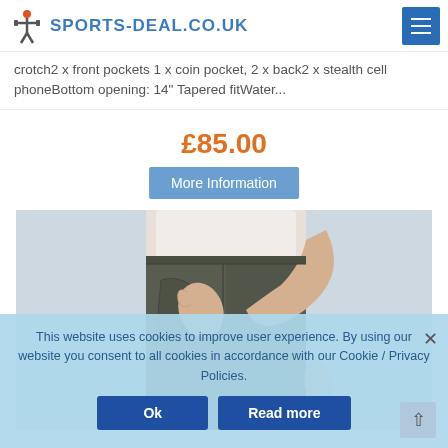SPORTS-DEAL.CO.UK
crotch2 x front pockets 1 x coin pocket, 2 x back2 x stealth cell phoneBottom opening: 14" Tapered fitWater...
£85.00
More Information
[Figure (photo): Man wearing dark olive/grey tapered trousers, hand in front pocket, showing side pocket detail]
This website uses cookies to improve user experience. By using our website you consent to all cookies in accordance with our Cookie / Privacy Policies.
Ok
Read more